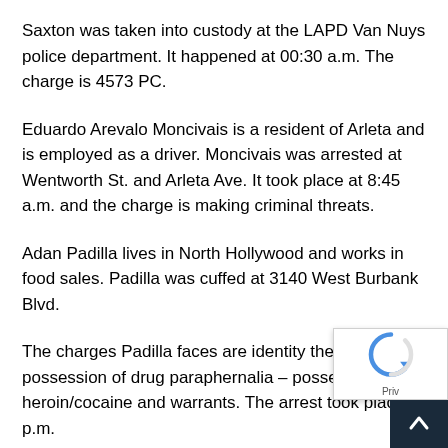Saxton was taken into custody at the LAPD Van Nuys police department. It happened at 00:30 a.m. The charge is 4573 PC.
Eduardo Arevalo Moncivais is a resident of Arleta and is employed as a driver. Moncivais was arrested at Wentworth St. and Arleta Ave. It took place at 8:45 a.m. and the charge is making criminal threats.
Adan Padilla lives in North Hollywood and works in food sales. Padilla was cuffed at 3140 West Burbank Blvd.
The charges Padilla faces are identity theft – being in possession of drug paraphernalia – possession of heroin/cocaine and warrants. The arrest took place at p.m.